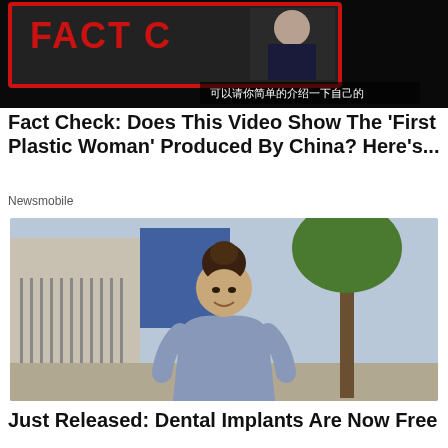[Figure (screenshot): Top portion of a fact-check video thumbnail with red border text 'FACT CHECK', a woman in a dark outfit, and Chinese text subtitle at the bottom reading '可以请你简单的介绍一下自己的']
Fact Check: Does This Video Show The 'First Plastic Woman' Produced By China? Here's...
Newsmobile
[Figure (photo): A smiling young woman with dark hair in an updo, wearing a short-sleeved grey-blue fitted dress, standing on a sidewalk with a metal fence and trees in the background]
Just Released: Dental Implants Are Now Free